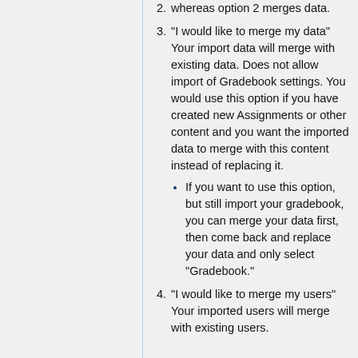whereas option 2 merges data.
"I would like to merge my data" Your import data will merge with existing data. Does not allow import of Gradebook settings. You would use this option if you have created new Assignments or other content and you want the imported data to merge with this content instead of replacing it.
If you want to use this option, but still import your gradebook, you can merge your data first, then come back and replace your data and only select "Gradebook."
"I would like to merge my users" Your imported users will merge with existing users.